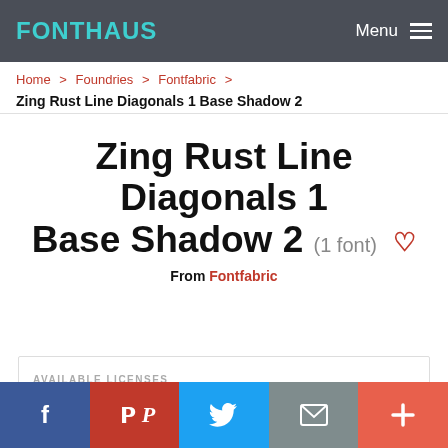FONTHAUS  Menu
Home > Foundries > Fontfabric >
Zing Rust Line Diagonals 1 Base Shadow 2
Zing Rust Line Diagonals 1 Base Shadow 2 (1 font)
From Fontfabric
AVAILABLE LICENSES